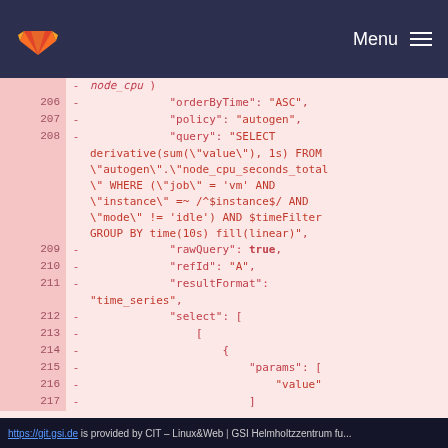GitLab — Menu
[Figure (screenshot): Code diff view showing lines 206-217 of a JSON configuration file with a PromQL query, on a pink/red highlighted diff background.]
https://git.gsi.de is provided by CIT – Linux&Web | GSI Helmholtzzentrum fu...